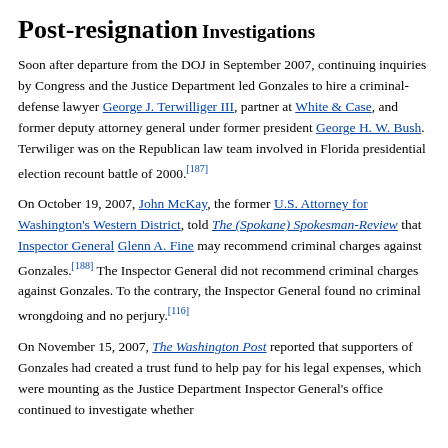Post-resignation
Investigations
Soon after departure from the DOJ in September 2007, continuing inquiries by Congress and the Justice Department led Gonzales to hire a criminal-defense lawyer George J. Terwilliger III, partner at White & Case, and former deputy attorney general under former president George H. W. Bush. Terwiliger was on the Republican law team involved in Florida presidential election recount battle of 2000.[187]
On October 19, 2007, John McKay, the former U.S. Attorney for Washington's Western District, told The (Spokane) Spokesman-Review that Inspector General Glenn A. Fine may recommend criminal charges against Gonzales.[188] The Inspector General did not recommend criminal charges against Gonzales. To the contrary, the Inspector General found no criminal wrongdoing and no perjury.[116]
On November 15, 2007, The Washington Post reported that supporters of Gonzales had created a trust fund to help pay for his legal expenses, which were mounting as the Justice Department Inspector General's office continued to investigate whether